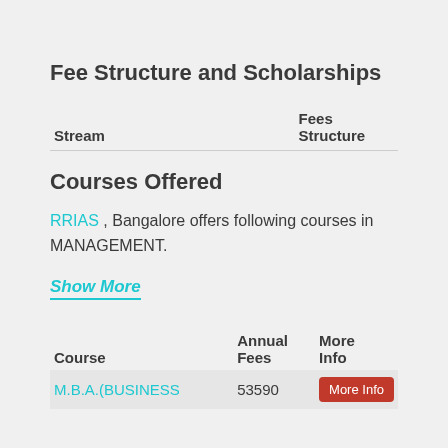Fee Structure and Scholarships
| Stream | Fees Structure |
| --- | --- |
Courses Offered
RRIAS , Bangalore offers following courses in MANAGEMENT.
Show More
| Course | Annual Fees | More Info |
| --- | --- | --- |
| M.B.A.(BUSINESS | 53590 | More Info |